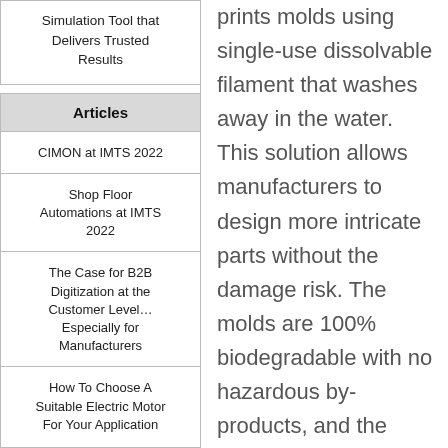Simulation Tool that Delivers Trusted Results
Articles
CIMON at IMTS 2022
Shop Floor Automations at IMTS 2022
The Case for B2B Digitization at the Customer Level… Especially for Manufacturers
How To Choose A Suitable Electric Motor For Your Application
prints molds using single-use dissolvable filament that washes away in the water. This solution allows manufacturers to design more intricate parts without the damage risk. The molds are 100% biodegradable with no hazardous by-products, and the material has strong thermal stability, withstanding the heat produced by silicone's curing process.